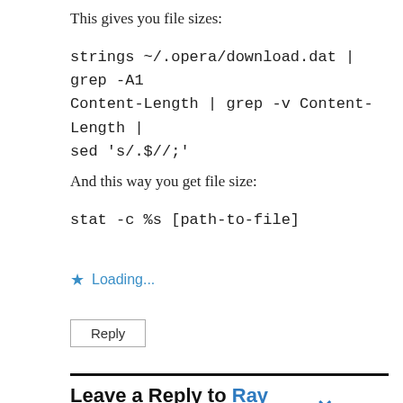This gives you file sizes:
strings ~/.opera/download.dat | grep -A1 Content-Length | grep -v Content-Length | sed 's/.$//;'
And this way you get file size:
stat -c %s [path-to-file]
Loading...
Reply
Leave a Reply to Ray Whatman ×